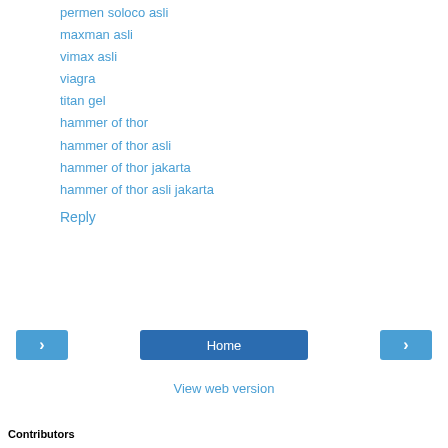permen soloco asli
maxman asli
vimax asli
viagra
titan gel
hammer of thor
hammer of thor asli
hammer of thor jakarta
hammer of thor asli jakarta
Reply
Home
View web version
Contributors